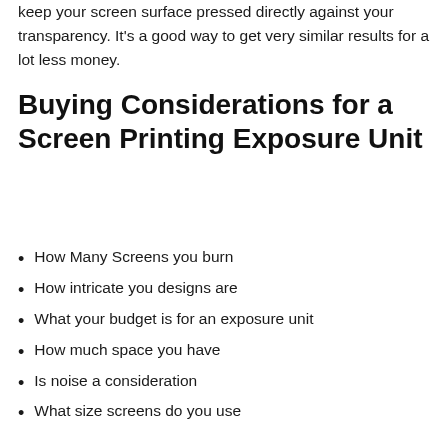keep your screen surface pressed directly against your transparency. It's a good way to get very similar results for a lot less money.
Buying Considerations for a Screen Printing Exposure Unit
How Many Screens you burn
How intricate you designs are
What your budget is for an exposure unit
How much space you have
Is noise a consideration
What size screens do you use